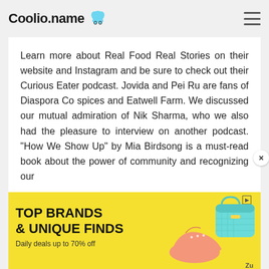Coolio.name
Learn more about Real Food Real Stories on their website and Instagram and be sure to check out their Curious Eater podcast. Jovida and Pei Ru are fans of Diaspora Co spices and Eatwell Farm. We discussed our mutual admiration of Nik Sharma, who we also had the pleasure to interview on another podcast. "How We Show Up" by Mia Birdsong is a must-read book about the power of community and recognizing our
[Figure (other): Advertisement banner with yellow background reading TOP BRANDS & UNIQUE FINDS, Daily deals up to 70% off, with images of a shoe and bag]